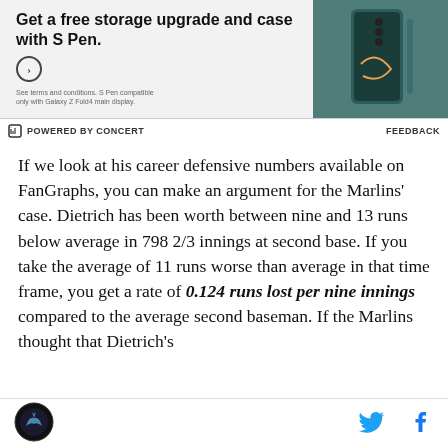[Figure (other): Advertisement for Samsung Galaxy Z Fold with S Pen. Text: 'Get a free storage upgrade and case with S Pen.' Shows a teal/green Samsung Galaxy Z Fold phone with S Pen.]
POWERED BY CONCERT   FEEDBACK
If we look at his career defensive numbers available on FanGraphs, you can make an argument for the Marlins' case. Dietrich has been worth between nine and 13 runs below average in 798 2/3 innings at second base. If you take the average of 11 runs worse than average in that time frame, you get a rate of 0.124 runs lost per nine innings compared to the average second baseman. If the Marlins thought that Dietrich's
[Figure (logo): Sports website logo - circular logo with bird/hawk image, dark background]
[Figure (other): Twitter bird icon in blue]
[Figure (other): Facebook f icon in dark blue]